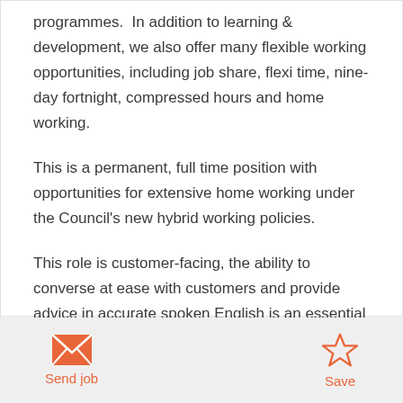programmes.  In addition to learning & development, we also offer many flexible working opportunities, including job share, flexi time, nine-day fortnight, compressed hours and home working.
This is a permanent, full time position with opportunities for extensive home working under the Council's new hybrid working policies.
This role is customer-facing, the ability to converse at ease with customers and provide advice in accurate spoken English is an essential element of the role.
[Figure (other): Footer bar with Send job (envelope icon) and Save (star icon) buttons in orange on light grey background]